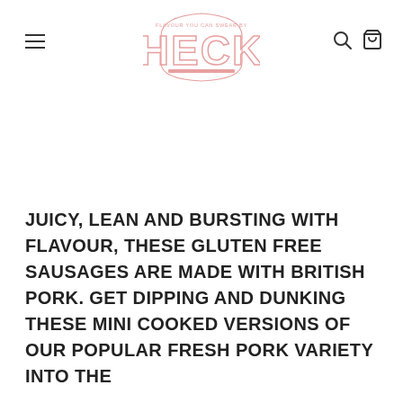HECK — FLAVOUR YOU CAN SWEAR BY
JUICY, LEAN AND BURSTING WITH FLAVOUR, THESE GLUTEN FREE SAUSAGES ARE MADE WITH BRITISH PORK. GET DIPPING AND DUNKING THESE MINI COOKED VERSIONS OF OUR POPULAR FRESH PORK VARIETY INTO THE